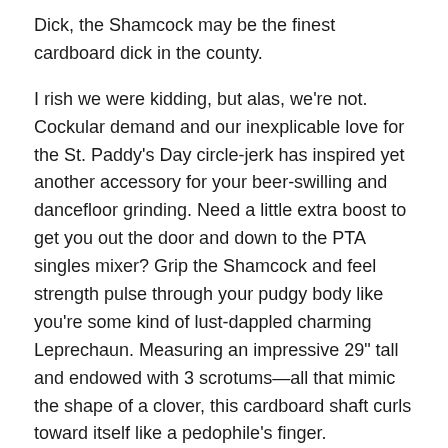Dick, the Shamcock may be the finest cardboard dick in the county.
I rish we were kidding, but alas, we're not. Cockular demand and our inexplicable love for the St. Paddy's Day circle-jerk has inspired yet another accessory for your beer-swilling and dancefloor grinding. Need a little extra boost to get you out the door and down to the PTA singles mixer? Grip the Shamcock and feel strength pulse through your pudgy body like you're some kind of lust-dappled charming Leprechaun. Measuring an impressive 29" tall and endowed with 3 scrotums—all that mimic the shape of a clover, this cardboard shaft curls toward itself like a pedophile's finger. Historically accurate as well, our 3-leaf ball clover represents the Holy Trinity, for St. Patrick used the shamrock to explain this biblical threesome to the Irish pagans.